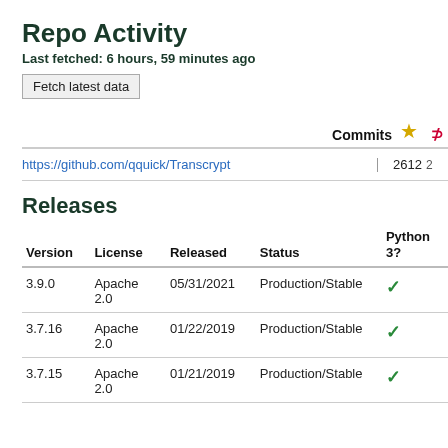Repo Activity
Last fetched: 6 hours, 59 minutes ago
Fetch latest data
|  | Commits | ★ | ⊅ |
| --- | --- | --- | --- |
| https://github.com/qquick/Transcrypt |  | 2612 | 2 |
Releases
| Version | License | Released | Status | Python 3? |
| --- | --- | --- | --- | --- |
| 3.9.0 | Apache 2.0 | 05/31/2021 | Production/Stable | ✓ |
| 3.7.16 | Apache 2.0 | 01/22/2019 | Production/Stable | ✓ |
| 3.7.15 | Apache 2.0 | 01/21/2019 | Production/Stable | ✓ |